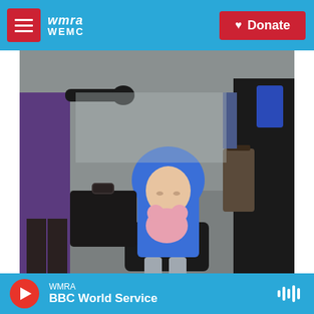WMRA / WEMC — Donate
[Figure (photo): A child in a blue hooded jacket sits on a black bag on the ground, hugging a pink stuffed toy, surrounded by people in winter coats with luggage, appearing to be a refugee scene.]
Nikolay Doychinov / AFP Via Getty Images / AFP Via Getty Images
WMRA BBC World Service